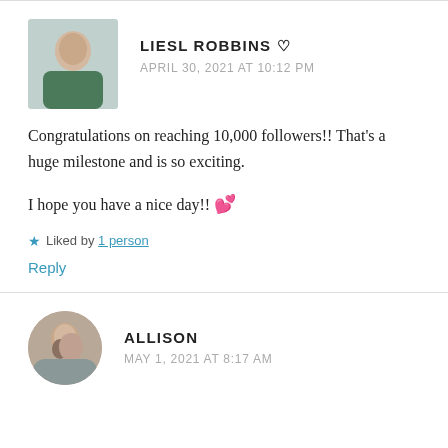LIESL ROBBINS ♡
APRIL 30, 2021 AT 10:12 PM
Congratulations on reaching 10,000 followers!! That's a huge milestone and is so exciting.

I hope you have a nice day!! 💕
★ Liked by 1 person
Reply
ALLISON
MAY 1, 2021 AT 8:17 AM